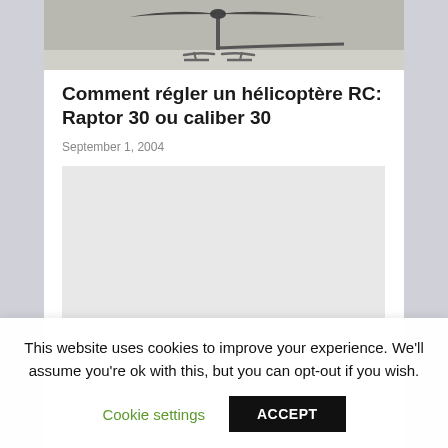[Figure (photo): Partial view of an RC helicopter (Raptor 30 or Caliber 30) against a light background, showing the rotor mechanism at the top of the page.]
Comment régler un hélicoptère RC: Raptor 30 ou caliber 30
September 1, 2004
[Figure (other): Gray advertisement placeholder rectangle.]
This website uses cookies to improve your experience. We'll assume you're ok with this, but you can opt-out if you wish.